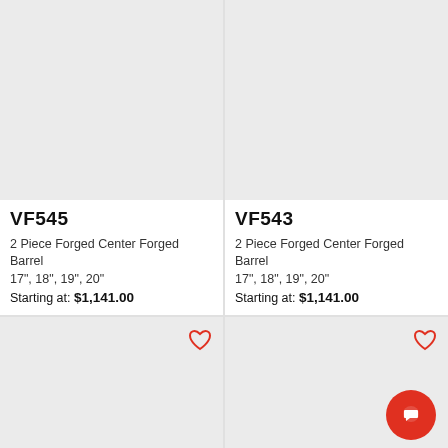[Figure (photo): Product image placeholder for VF545 wheel, light gray background]
VF545
2 Piece Forged Center Forged Barrel
17", 18", 19", 20"
Starting at: $1,141.00
[Figure (photo): Product image placeholder for VF543 wheel, light gray background]
VF543
2 Piece Forged Center Forged Barrel
17", 18", 19",  20"
Starting at: $1,141.00
[Figure (photo): Product image placeholder, bottom-left, light gray background with heart icon]
[Figure (photo): Product image placeholder, bottom-right, light gray background with heart icon and chat button]